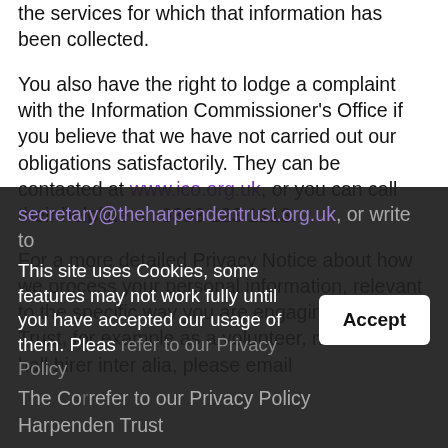the services for which that information has been collected.
You also have the right to lodge a complaint with the Information Commissioner's Office if you believe that we have not carried out our obligations satisfactorily. They can be contacted at www.ico.org.uk, or you can call their helpline on 0303 123 1113.
For a more detailed Privacy Notice about how we process your personal information, relevant to the specific way you are engaging with the Trust, for example as a volunteer, member or hall hirer inter alia, please email secretary@theharpendentrust.org.uk, or write to The Correfer to our Privacy Policy The Harpenden Trust
This site uses Cookies, some features may not work fully until you have accepted our usage of them. Please refer to our Privacy Policy